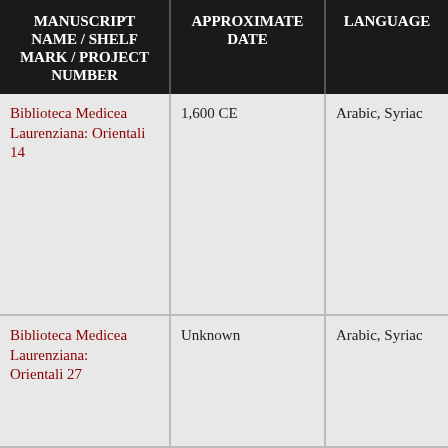| MANUSCRIPT NAME / SHELF MARK / PROJECT NUMBER | APPROXIMATE DATE | LANGUAGE |
| --- | --- | --- |
| Biblioteca Medicea Laurenziana: Orientali 14 | 1,600 CE | Arabic, Syriac |
| Biblioteca Medicea Laurenziana: Orientali 27 | Unknown | Arabic, Syriac |